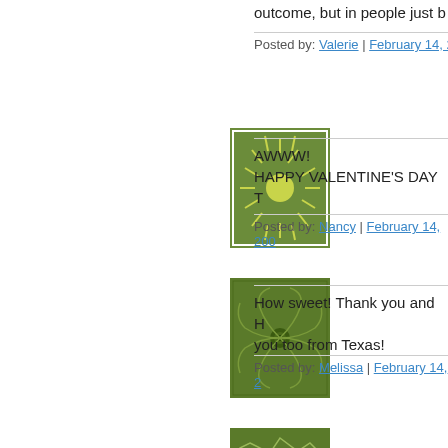outcome, but in people just b
Posted by: Valerie | February 14, 20
AWWW!
HAPPY VALENTINE'S DAY T
Posted by: Nancy | February 14, 200
How sweet! Thank you and H you too from Texas!
Posted by: Melissa | February 14, 2
So king of you! thanks a lot a valentine's day to you!
Posted by: Puccannick | February 1
Wishing you a Happy Valenti always leaves me smiling.
K x